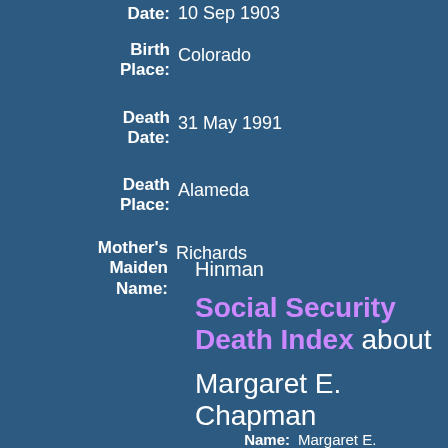Date: 10 Sep 1903
Birth Place: Colorado
Death Date: 31 May 1991
Death Place: Alameda
Mother's Maiden Name: Richards
Hinman
Social Security Death Index about Margaret E. Chapman
Name: Margaret E. Chapman
SSN: 568-72-0473
94536 Fremont, Alameda,
Father's Surname:
Last